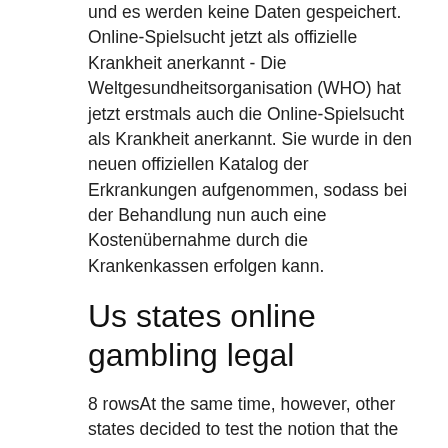und es werden keine Daten gespeichert. Online-Spielsucht jetzt als offizielle Krankheit anerkannt - Die Weltgesundheitsorganisation (WHO) hat jetzt erstmals auch die Online-Spielsucht als Krankheit anerkannt. Sie wurde in den neuen offiziellen Katalog der Erkrankungen aufgenommen, sodass bei der Behandlung nun auch eine Kostenübernahme durch die Krankenkassen erfolgen kann.
Us states online gambling legal
8 rowsAt the same time, however, other states decided to test the notion that the federal government had. ONLINE LOTTERY GAMES IN PA. Compared to other forms of gambling, the. Although online horse betting became legal in many states in 2000 (including New. Tennessee is not a gambling state. There are no casinos, racetracks, or off-track. You can now play real money slots